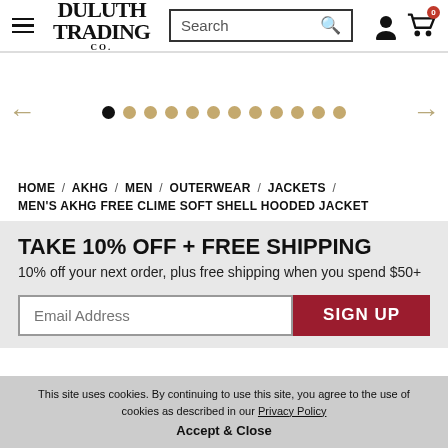[Figure (logo): Duluth Trading Co. logo with hamburger menu, search box, user icon, and cart icon]
[Figure (other): Image carousel with left and right arrows and 12 navigation dots, first dot active]
HOME / AKHG / MEN / OUTERWEAR / JACKETS / MEN'S AKHG FREE CLIME SOFT SHELL HOODED JACKET
TAKE 10% OFF + FREE SHIPPING
10% off your next order, plus free shipping when you spend $50+
Email Address  SIGN UP
This site uses cookies. By continuing to use this site, you agree to the use of cookies as described in our Privacy Policy
Accept & Close